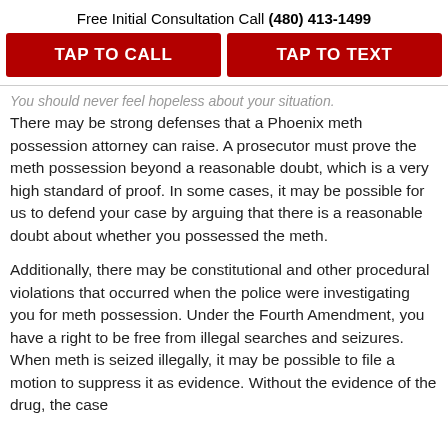Free Initial Consultation Call (480) 413-1499
[Figure (other): Two red call-to-action buttons: TAP TO CALL and TAP TO TEXT]
You should never feel hopeless about your situation. There may be strong defenses that a Phoenix meth possession attorney can raise. A prosecutor must prove the meth possession beyond a reasonable doubt, which is a very high standard of proof. In some cases, it may be possible for us to defend your case by arguing that there is a reasonable doubt about whether you possessed the meth.
Additionally, there may be constitutional and other procedural violations that occurred when the police were investigating you for meth possession. Under the Fourth Amendment, you have a right to be free from illegal searches and seizures. When meth is seized illegally, it may be possible to file a motion to suppress it as evidence. Without the evidence of the drug, the case...